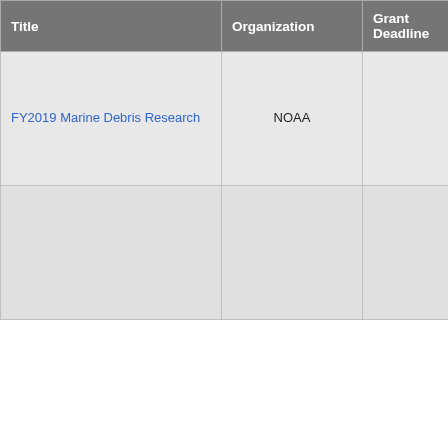| Title | Organization | Grant Deadline | Description |
| --- | --- | --- | --- |
| FY2019 Marine Debris Research | NOAA |  | experiments. The MDP invites applications for research in any of three areas of focus that explores the ecological associated with marine debris, determines debris exposure, research that examines transport of marine debris, research that quantifies impacts resulting from m and the gains in ecosyst that result when debris is |
|  |  |  | Deadline Passed 04/16... Deadline Unknown for... principal objective of the Community-based Resto Program Coastal and Ma Restoration solicitation is habitat restoration proje ecosystem-based appro species recovery and in |